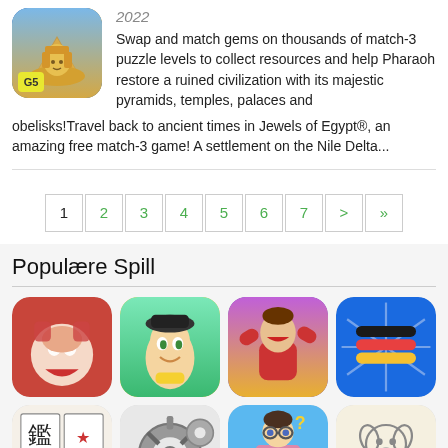[Figure (illustration): App icon for Jewels of Egypt game showing a golden sphinx with G5 logo]
2022
Swap and match gems on thousands of match-3 puzzle levels to collect resources and help Pharaoh restore a ruined civilization with its majestic pyramids, temples, palaces and obelisks!Travel back to ancient times in Jewels of Egypt®, an amazing free match-3 game! A settlement on the Nile Delta...
1
2
3
4
5
6
7
>
»
Populære Spill
[Figure (illustration): App icon - animated character with open mouth and hands]
[Figure (illustration): App icon - cartoon taxi driver boy with yellow hat]
[Figure (illustration): App icon - wrestling/fighting character]
[Figure (illustration): App icon - colored lines on blue background]
[Figure (illustration): App icon - Japanese crossword puzzle kanji characters]
[Figure (illustration): App icon - mechanical gears illustration]
[Figure (illustration): App icon - cartoon boy with glasses and gift]
[Figure (illustration): App icon - simple dog drawing outline]